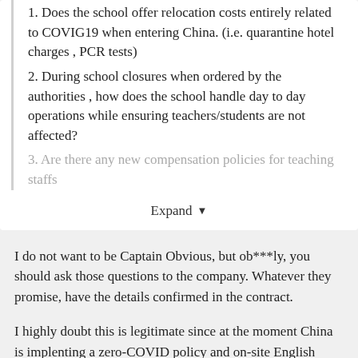1.  Does the school offer relocation costs entirely related to COVIG19 when entering China. (i.e. quarantine hotel charges , PCR tests)
2. During school closures when ordered by the authorities , how does the school handle day to day operations while ensuring teachers/students are not affected?
3. Are there any new compensation policies for teaching staffs
Expand
I do not want to be Captain Obvious, but ob***ly, you should ask those questions to the company. Whatever they promise, have the details confirmed in the contract.
I highly doubt this is legitimate since at the moment China is implenting a zero-COVID policy and on-site English teachers are unlikely a priority...